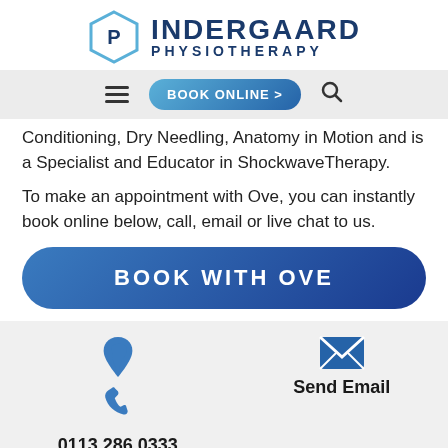[Figure (logo): Indergaard Physiotherapy logo with hexagon icon containing letter P and text INDERGAARD PHYSIOTHERAPY]
[Figure (screenshot): Navigation bar with hamburger menu, BOOK ONLINE button, and search icon]
Conditioning, Dry Needling, Anatomy in Motion and is a Specialist and Educator in ShockwaveTherapy.
To make an appointment with Ove, you can instantly book online below, call, email or live chat to us.
[Figure (screenshot): BOOK WITH OVE button, large blue rounded rectangle]
0113 286 0333
Send Email
[Figure (screenshot): Social share buttons: email, Facebook, Twitter, LinkedIn, Pinterest]